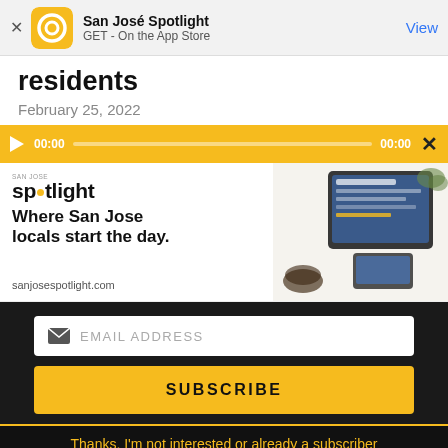San José Spotlight — GET - On the App Store — View
residents
February 25, 2022
[Figure (screenshot): Audio player bar with play button, 00:00 timestamps and progress bar on yellow background]
[Figure (infographic): San José Spotlight ad banner: Where San Jose locals start the day. sanjosespotlight.com with tablet device image]
EMAIL ADDRESS
SUBSCRIBE
Thanks, I'm not interested or already a subscriber